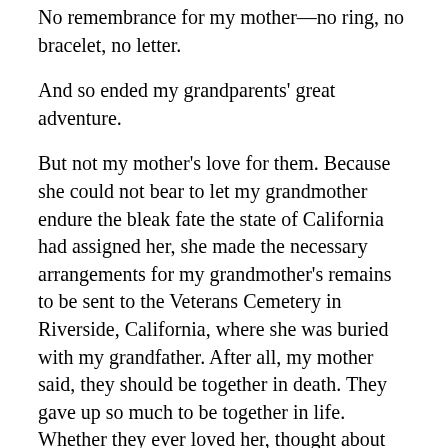No remembrance for my mother—no ring, no bracelet, no letter.
And so ended my grandparents' great adventure.
But not my mother's love for them. Because she could not bear to let my grandmother endure the bleak fate the state of California had assigned her, she made the necessary arrangements for my grandmother's remains to be sent to the Veterans Cemetery in Riverside, California, where she was buried with my grandfather. After all, my mother said, they should be together in death. They gave up so much to be together in life. Whether they ever loved her, thought about her or missed her is unknown. What is known is that she loved them, thought about them, missed them. And she still does. And there's nothing any of us who love her can do about that.
Because I'm a writer, my mother wanted me to write her